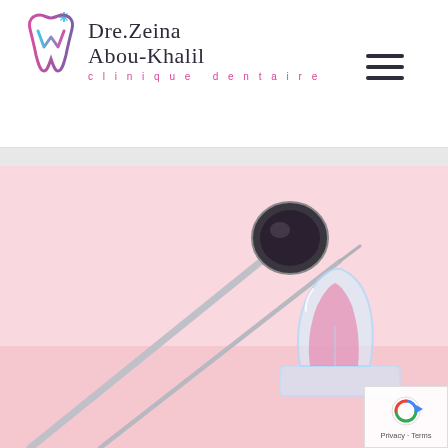[Figure (logo): Dre. Zeina Abou-Khalil clinique dentaire logo with tooth icon in pink, blue, and purple gradient]
[Figure (photo): Dental instruments (mirror and probe/scaler) and a clear acrylic tooth model on a pink/blush background]